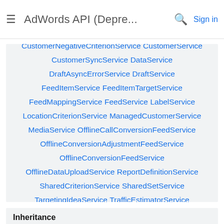AdWords API (Depre... Sign in
CustomerFeedService CustomerNegativeCriterionService CustomerService CustomerSyncService DataService DraftAsyncErrorService DraftService FeedItemService FeedItemTargetService FeedMappingService FeedService LabelService LocationCriterionService ManagedCustomerService MediaService OfflineCallConversionFeedService OfflineConversionAdjustmentFeedService OfflineConversionFeedService OfflineDataUploadService ReportDefinitionService SharedCriterionService SharedSetService TargetingIdeaService TrafficEstimatorService TrialAsyncErrorService TrialService
Inheritance